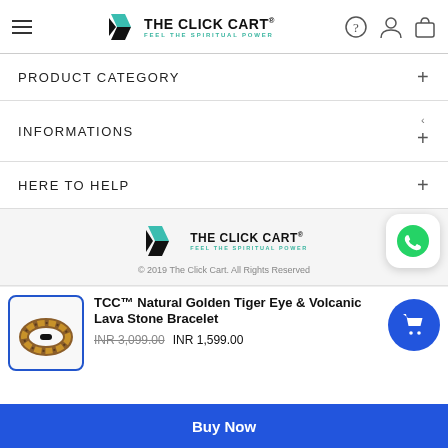THE CLICK CART® — FEEL THE SPIRITUAL POWER
PRODUCT CATEGORY +
INFORMATIONS +
HERE TO HELP +
[Figure (logo): The Click Cart logo with teal/black geometric mark]
© 2019 The Click Cart. All Rights Reserved
TCC™ Natural Golden Tiger Eye & Volcanic Lava Stone Bracelet
INR 3,099.00  INR 1,599.00
[Figure (photo): Brown and black beaded bracelet product photo]
Buy Now